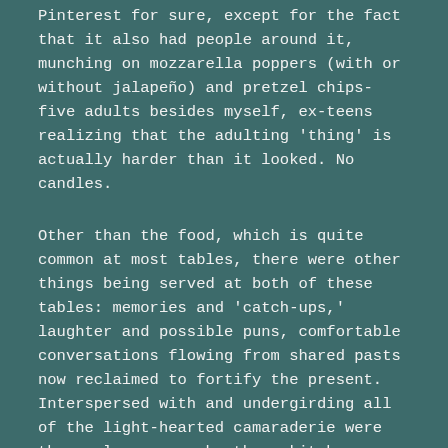Pinterest for sure, except for the fact that it also had people around it, munching on mozzarella poppers (with or without jalapeño) and pretzel chips- five adults besides myself, ex-teens realizing that the adulting 'thing' is actually harder than it looked. No candles.
Other than the food, which is quite common at most tables, there were other things being served at both of these tables: memories and 'catch-ups,' laughter and possible puns, comfortable conversations flowing from shared pasts now reclaimed to fortify the present. Interspersed with and undergirding all of the light-hearted camaraderie were the real reasons why these kitchen-table scenarios were beyond Pinterest-worthy of recognition.
At each table, every single person regardless of age